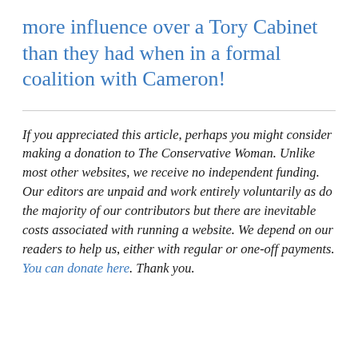more influence over a Tory Cabinet than they had when in a formal coalition with Cameron!
If you appreciated this article, perhaps you might consider making a donation to The Conservative Woman. Unlike most other websites, we receive no independent funding. Our editors are unpaid and work entirely voluntarily as do the majority of our contributors but there are inevitable costs associated with running a website. We depend on our readers to help us, either with regular or one-off payments. You can donate here. Thank you.